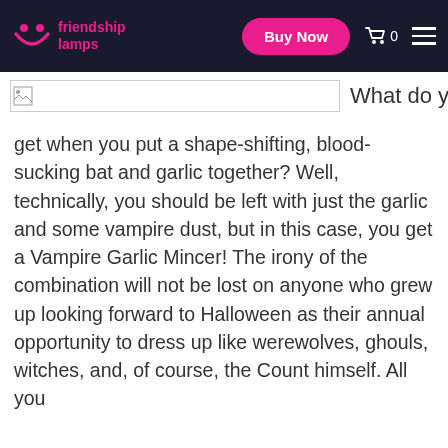friendship lamps | Buy Now | cart 0 | menu
[Figure (photo): Broken image placeholder with partial image icon, followed by text 'What do you']
get when you put a shape-shifting, blood-sucking bat and garlic together? Well, technically, you should be left with just the garlic and some vampire dust, but in this case, you get a Vampire Garlic Mincer! The irony of the combination will not be lost on anyone who grew up looking forward to Halloween as their annual opportunity to dress up like werewolves, ghouls, witches, and, of course, the Count himself. All you